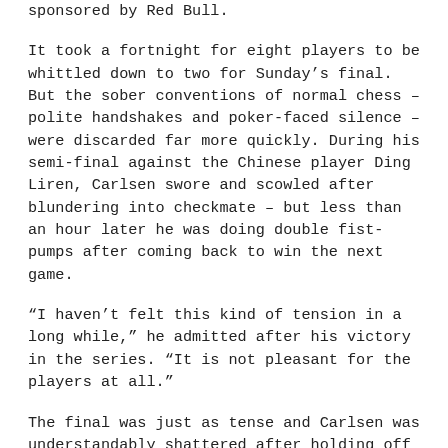sponsored by Red Bull.
It took a fortnight for eight players to be whittled down to two for Sunday's final. But the sober conventions of normal chess – polite handshakes and poker-faced silence – were discarded far more quickly. During his semi-final against the Chinese player Ding Liren, Carlsen swore and scowled after blundering into checkmate – but less than an hour later he was doing double fist-pumps after coming back to win the next game.
“I haven’t felt this kind of tension in a long while,” he admitted after his victory in the series. “It is not pleasant for the players at all.”
The final was just as tense and Carlsen was understandably shattered after holding off Nakamura to win a seesawing thriller to claim the $70,000 first prize – a decent return for a few hours’ work by anyone’s standards. But there was another silent battle raging behind the scenes: the one for hearts and minds. According to the organiser chess24.com, more than 10 million people have